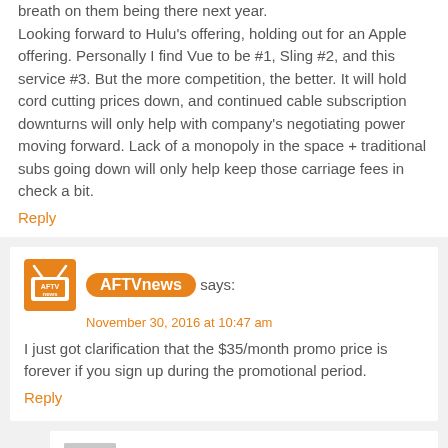breath on them being there next year. Looking forward to Hulu's offering, holding out for an Apple offering. Personally I find Vue to be #1, Sling #2, and this service #3. But the more competition, the better. It will hold cord cutting prices down, and continued cable subscription downturns will only help with company's negotiating power moving forward. Lack of a monopoly in the space + traditional subs going down will only help keep those carriage fees in check a bit.
Reply
AFTVnews says: November 30, 2016 at 10:47 am
I just got clarification that the $35/month promo price is forever if you sign up during the promotional period.
Reply
Dave69 says: November 30, 2016 at 1:09 pm
Thanks for sharing. Enclosed a letter...